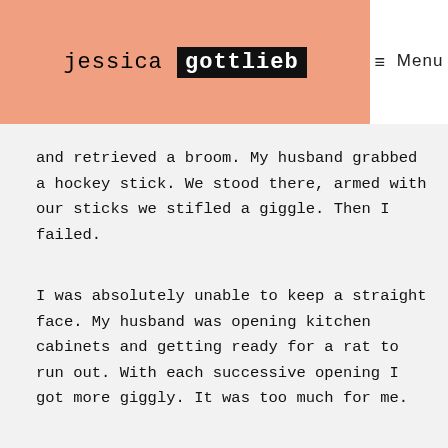jessica gottlieb
Menu
and retrieved a broom. My husband grabbed a hockey stick. We stood there, armed with our sticks we stifled a giggle. Then I failed.
I was absolutely unable to keep a straight face. My husband was opening kitchen cabinets and getting ready for a rat to run out. With each successive opening I got more giggly. It was too much for me.
b t ith d bl t th